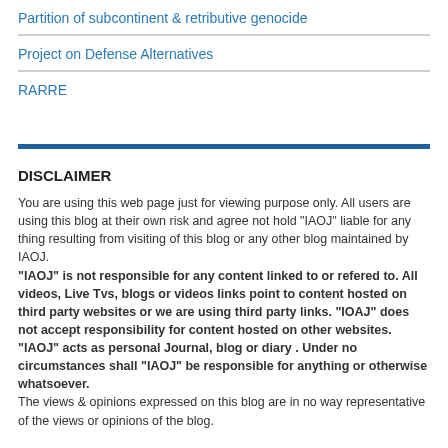Partition of subcontinent & retributive genocide
Project on Defense Alternatives
RARRE
DISCLAIMER
You are using this web page just for viewing purpose only. All users are using this blog at their own risk and agree not hold "IAOJ" liable for any thing resulting from visiting of this blog or any other blog maintained by IAOJ.
"IAOJ" is not responsible for any content linked to or refered to. All videos, Live Tvs, blogs or videos links point to content hosted on third party websites or we are using third party links. "IOAJ" does not accept responsibility for content hosted on other websites.
"IAOJ" acts as personal Journal, blog or diary . Under no circumstances shall "IAOJ" be responsible for anything or otherwise whatsoever.
The views & opinions expressed on this blog are in no way representative of the views or opinions of the blog.